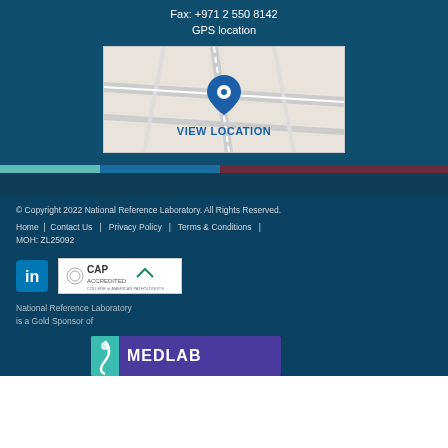Fax: +971 2 550 8142
GPS location
[Figure (map): Map showing GPS location with a blue pin marker and 'VIEW LOCATION' text overlay]
[Figure (illustration): Three-segment colored divider bar: teal, dark blue, dark red]
© Copyright 2022 National Reference Laboratory. All Rights Reserved.
Home | Contact Us | Privacy Policy | Terms & Conditions |
MOH: ZL25092
[Figure (logo): LinkedIn logo (blue square with 'in' text)]
[Figure (logo): CAP Accredited logo - College of American Pathologists]
National Reference Laboratory
is a Gold Sponsor of
[Figure (logo): Medlab logo - purple background with teal accent and white MEDLAB text]